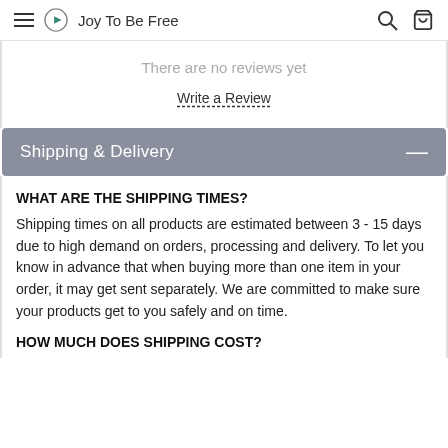Joy To Be Free
There are no reviews yet
Write a Review
Shipping & Delivery
WHAT ARE THE SHIPPING TIMES?
Shipping times on all products are estimated between 3 - 15 days due to high demand on orders, processing and delivery. To let you know in advance that when buying more than one item in your order, it may get sent separately. We are committed to make sure your products get to you safely and on time.
HOW MUCH DOES SHIPPING COST?